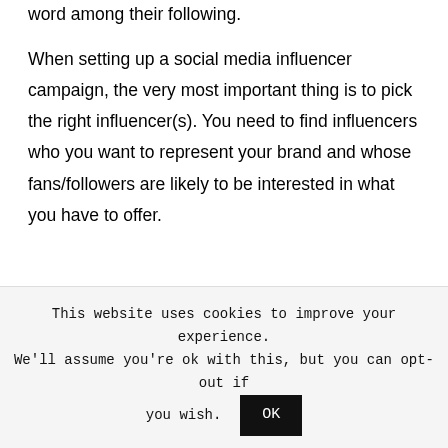word among their following.
When setting up a social media influencer campaign, the very most important thing is to pick the right influencer(s). You need to find influencers who you want to represent your brand and whose fans/followers are likely to be interested in what you have to offer.
For example, pop star Beyoncé has almost 150 million followers on Instagram. How many
This website uses cookies to improve your experience. We'll assume you're ok with this, but you can opt-out if you wish. OK